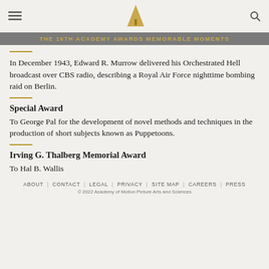THE 16TH ACADEMY AWARDS MEMORABLE MOMENTS
In December 1943, Edward R. Murrow delivered his Orchestrated Hell broadcast over CBS radio, describing a Royal Air Force nighttime bombing raid on Berlin.
Special Award
To George Pal for the development of novel methods and techniques in the production of short subjects known as Puppetoons.
Irving G. Thalberg Memorial Award
To Hal B. Wallis
ABOUT | CONTACT | LEGAL | PRIVACY | SITE MAP | CAREERS | PRESS
© 2022 Academy of Motion Picture Arts and Sciences